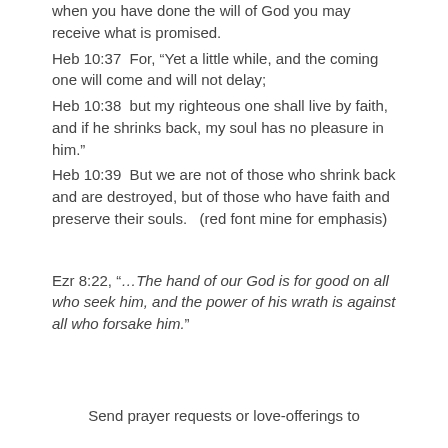when you have done the will of God you may receive what is promised.
Heb 10:37  For, “Yet a little while, and the coming one will come and will not delay;
Heb 10:38  but my righteous one shall live by faith, and if he shrinks back, my soul has no pleasure in him.”
Heb 10:39  But we are not of those who shrink back and are destroyed, but of those who have faith and preserve their souls.   (red font mine for emphasis)
Ezr 8:22, “…The hand of our God is for good on all who seek him, and the power of his wrath is against all who forsake him.”
Send prayer requests or love-offerings to